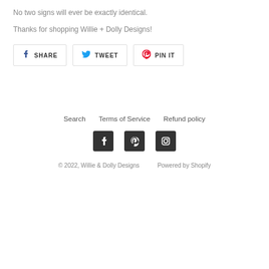No two signs will ever be exactly identical.
Thanks for shopping Willie + Dolly Designs!
SHARE   TWEET   PIN IT
Search   Terms of Service   Refund policy
[Figure (other): Social media icons: Facebook, Pinterest, Instagram]
© 2022, Willie & Dolly Designs   Powered by Shopify